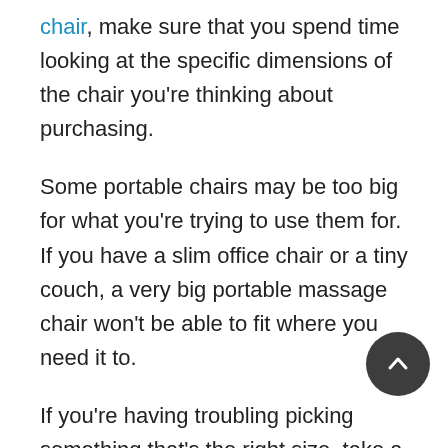chair, make sure that you spend time looking at the specific dimensions of the chair you're thinking about purchasing.
Some portable chairs may be too big for what you're trying to use them for. If you have a slim office chair or a tiny couch, a very big portable massage chair won't be able to fit where you need it to.
If you're having troubling picking something that's the right size, take a little time to measure the furniture you use the most. Once you have those dimensions figured out, you'll be able to